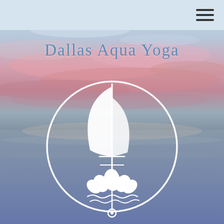[Figure (illustration): Sunset ocean background with pink and blue sky and calm water]
Dallas Aqua Yoga - navigation header bar with hamburger menu icon
Dallas Aqua Yoga
[Figure (logo): Dallas Aqua Yoga logo: white circular emblem containing a sailboat with a large white sail, a lotus flower at the base of the mast, decorative wave lines, and a small circle at the bottom anchor point, all enclosed in a white circle outline]